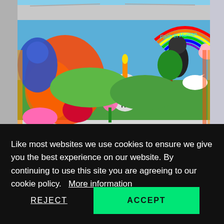[Figure (photo): Colorful street mural on a large building wall depicting various figures including skulls, a rainbow, fantastical creatures, and text reading 'Faith in Human' painted in neon colors against a bright blue sky]
Like most websites we use cookies to ensure we give you the best experience on our website. By continuing to use this site you are agreeing to our cookie policy.   More information
REJECT
ACCEPT